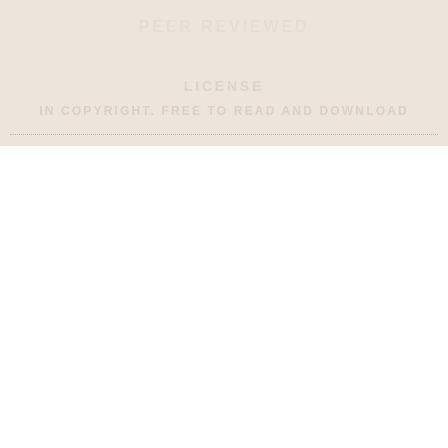PEER REVIEWED
LICENSE
IN COPYRIGHT. FREE TO READ AND DOWNLOAD